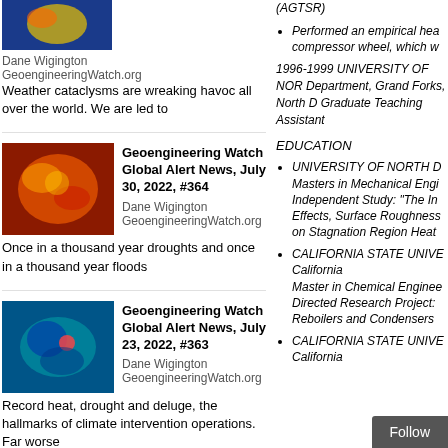[Figure (screenshot): Left column showing Geoengineering Watch article cards with thumbnails]
[Figure (screenshot): Right column showing resume/CV content with education section]